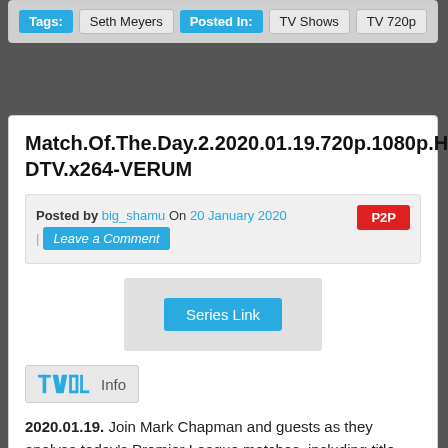Tags: Seth Meyers | Posted In: TV Shows   TV 720p
Match.Of.The.Day.2.2020.01.19.720p.1080p.HDTV.x264-VERUM
Posted by big_shamu On 20 January 2020 | Leave a Comment   P2P
[Figure (other): Series Link button in a gray box]
[Figure (logo): TVOOL Info bar logo]
2020.01.19. Join Mark Chapman and guests as they analyse today's Premier League matches, including title-chasing Liverpool's blockbuster clash with Manchester United at Anfield. Jurgen Klopp's team are bidding for a first league title in the Premier League era and will want three points against their arch-rivals. Liverpool's triumph in this encounter last season was a first league win at home against United for five years. In today's other fixture, Leicester City were